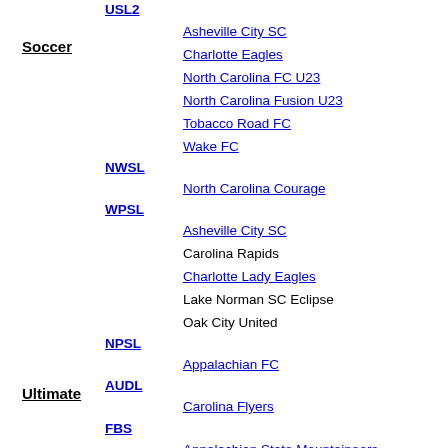USL2
Asheville City SC
Charlotte Eagles
North Carolina FC U23
North Carolina Fusion U23
Tobacco Road FC
Wake FC
Soccer
NWSL
North Carolina Courage
WPSL
Asheville City SC
Carolina Rapids
Charlotte Lady Eagles
Lake Norman SC Eclipse
Oak City United
NPSL
Appalachian FC
Ultimate
AUDL
Carolina Flyers
FBS
Appalachian State Mountaineers
Charlotte 49ers
Duke Blue Devils
East Carolina Pirates